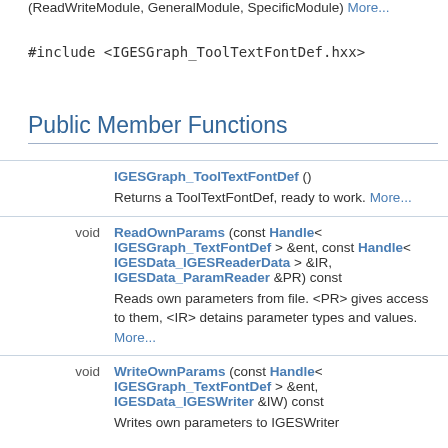(ReadWriteModule, GeneralModule, SpecificModule) More...
#include <IGESGraph_ToolTextFontDef.hxx>
Public Member Functions
| type | member |
| --- | --- |
|  | IGESGraph_ToolTextFontDef () Returns a ToolTextFontDef, ready to work. More... |
| void | ReadOwnParams (const Handle< IGESGraph_TextFontDef > &ent, const Handle< IGESData_IGESReaderData > &IR, IGESData_ParamReader &PR) const Reads own parameters from file. <PR> gives access to them, <IR> detains parameter types and values. More... |
| void | WriteOwnParams (const Handle< IGESGraph_TextFontDef > &ent, IGESData_IGESWriter &IW) const Writes own parameters to IGESWriter |